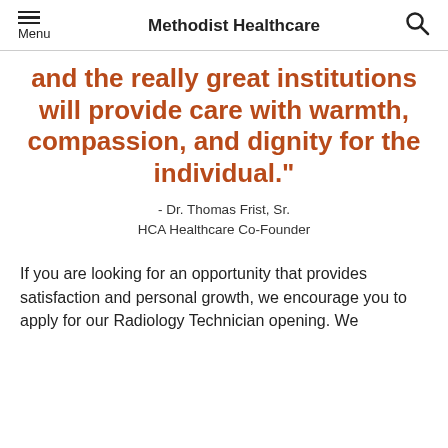Methodist Healthcare
and the really great institutions will provide care with warmth, compassion, and dignity for the individual."
- Dr. Thomas Frist, Sr.
HCA Healthcare Co-Founder
If you are looking for an opportunity that provides satisfaction and personal growth, we encourage you to apply for our Radiology Technician opening. We